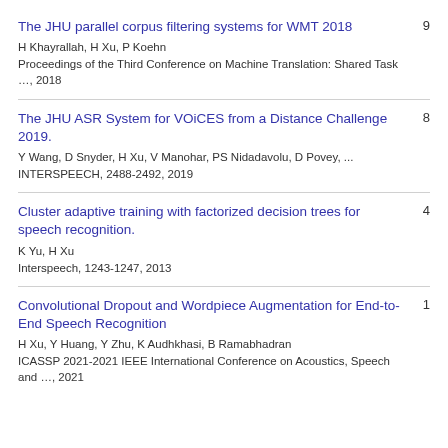The JHU parallel corpus filtering systems for WMT 2018
H Khayrallah, H Xu, P Koehn
Proceedings of the Third Conference on Machine Translation: Shared Task …, 2018
Citations: 9
The JHU ASR System for VOiCES from a Distance Challenge 2019.
Y Wang, D Snyder, H Xu, V Manohar, PS Nidadavolu, D Povey, ...
INTERSPEECH, 2488-2492, 2019
Citations: 8
Cluster adaptive training with factorized decision trees for speech recognition.
K Yu, H Xu
Interspeech, 1243-1247, 2013
Citations: 4
Convolutional Dropout and Wordpiece Augmentation for End-to-End Speech Recognition
H Xu, Y Huang, Y Zhu, K Audhkhasi, B Ramabhadran
ICASSP 2021-2021 IEEE International Conference on Acoustics, Speech and …, 2021
Citations: 1